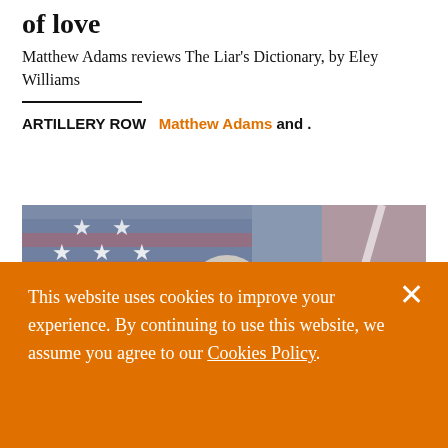of love
Matthew Adams reviews The Liar's Dictionary, by Eley Williams
ARTILLERY ROW   Matthew Adams and .
[Figure (photo): A photo showing a person with white/grey hair in front of an American flag, partially obscured by a cookie consent banner.]
This website uses cookies to improve your experience. By continuing to use this website, we assume you agree to our Cookies Policy.